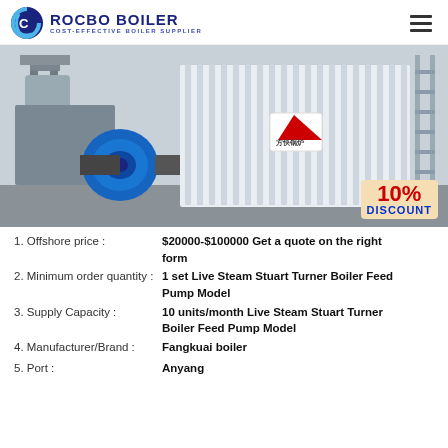[Figure (logo): Rocbo Boiler logo with circular C icon and text ROCBO BOILER / COST-EFFECTIVE BOILER SUPPLIER]
[Figure (photo): Industrial boiler unit installed outdoors with blue motor/blower on left side and white rectangular boiler body. Red logo visible on boiler. 10% DISCOUNT badge in bottom right corner.]
1. Offshore price : $20000-$100000 Get a quote on the right form
2. Minimum order quantity : 1 set Live Steam Stuart Turner Boiler Feed Pump Model
3. Supply Capacity : 10 units/month Live Steam Stuart Turner Boiler Feed Pump Model
4. Manufacturer/Brand : Fangkuai boiler
5. Port : Anyang